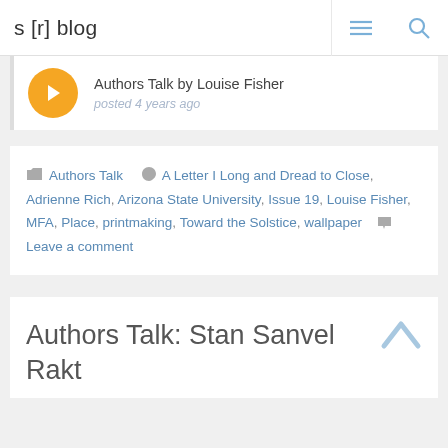s [r] blog
[Figure (screenshot): Authors Talk by Louise Fisher blog post card with orange play button, posted 4 years ago]
Authors Talk   A Letter I Long and Dread to Close, Adrienne Rich, Arizona State University, Issue 19, Louise Fisher, MFA, Place, printmaking, Toward the Solstice, wallpaper   Leave a comment
Authors Talk: Stan Sanvel